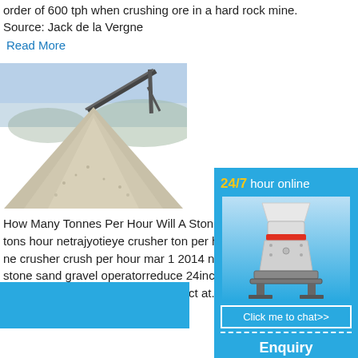order of 600 tph when crushing ore in a hard rock mine. Source: Jack de la Vergne
Read More
[Figure (photo): Pile of crushed stone/aggregate with conveyor belt in background, outdoor mining/quarry setting]
How Many Tonnes Per Hour Will A Stone Crusher Stone crusher 100 tons hour netrajyotieye crusher ton per hour bankijkerkade how ma crusher crush per hour mar 1 2014 news a site for crushed stone sand gravel operator reduce 24inch limestone down to 6inch mi produce a cubicalquality product at.
Read More
[Figure (illustration): 24/7 hour online sidebar widget with cone crusher image, chat button, Enquiry section, and limingjlmofen branding]
[Figure (illustration): Blue banner at bottom left of page]